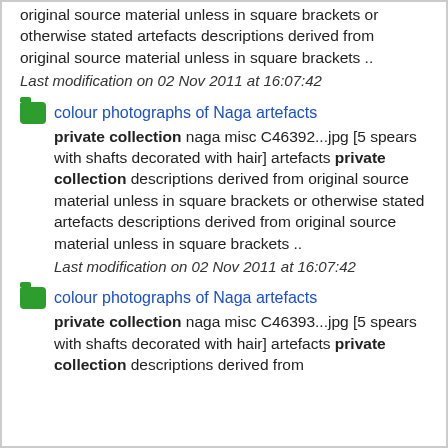original source material unless in square brackets or otherwise stated artefacts descriptions derived from original source material unless in square brackets ..
Last modification on 02 Nov 2011 at 16:07:42
colour photographs of Naga artefacts
private collection naga misc C46392...jpg [5 spears with shafts decorated with hair] artefacts private collection descriptions derived from original source material unless in square brackets or otherwise stated artefacts descriptions derived from original source material unless in square brackets ..
Last modification on 02 Nov 2011 at 16:07:42
colour photographs of Naga artefacts
private collection naga misc C46393...jpg [5 spears with shafts decorated with hair] artefacts private collection descriptions derived from